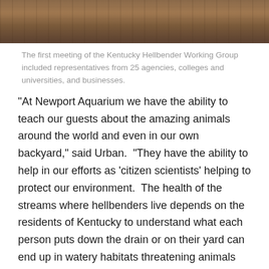[Figure (photo): Top portion of a photo showing people at a meeting, with warm brown tones visible at the top of the page]
The first meeting of the Kentucky Hellbender Working Group included representatives from 25 agencies, colleges and universities, and businesses.
“At Newport Aquarium we have the ability to teach our guests about the amazing animals around the world and even in our own backyard,” said Urban.  “They have the ability to help in our efforts as ‘citizen scientists’ helping to protect our environment.  The health of the streams where hellbenders live depends on the residents of Kentucky to understand what each person puts down the drain or on their yard can end up in watery habitats threatening animals that live there.”
The group plans to meet next in the Spring to keep the future hopeful for hellbenders.